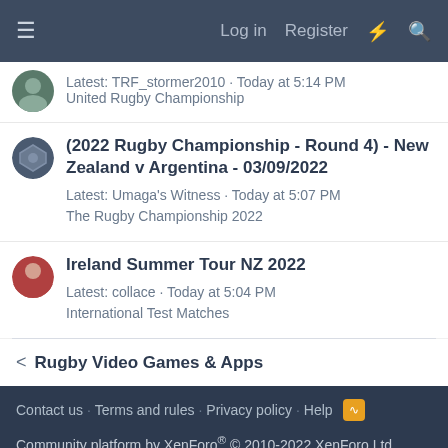Log in  Register
Latest: TRF_stormer2010 · Today at 5:14 PM
United Rugby Championship
(2022 Rugby Championship - Round 4) - New Zealand v Argentina - 03/09/2022
Latest: Umaga's Witness · Today at 5:07 PM
The Rugby Championship 2022
Ireland Summer Tour NZ 2022
Latest: collace · Today at 5:04 PM
International Test Matches
Rugby Video Games & Apps
Contact us  Terms and rules  Privacy policy  Help
Community platform by XenForo® © 2010-2022 XenForo Ltd.
GMR Web Team
Get recommendations on what will be best for yo…gent care practice.